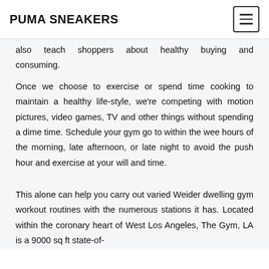PUMA SNEAKERS
also teach shoppers about healthy buying and consuming.
Once we choose to exercise or spend time cooking to maintain a healthy life-style, we're competing with motion pictures, video games, TV and other things without spending a dime time. Schedule your gym go to within the wee hours of the morning, late afternoon, or late night to avoid the push hour and exercise at your will and time.
This alone can help you carry out varied Weider dwelling gym workout routines with the numerous stations it has. Located within the coronary heart of West Los Angeles, The Gym, LA is a 9000 sq ft state-of-